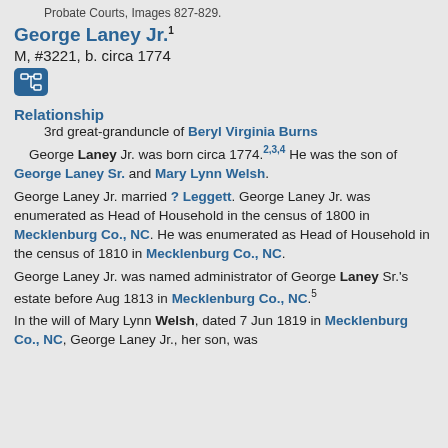Probate Courts, Images 827-829.
George Laney Jr.¹
M, #3221, b. circa 1774
[Figure (other): Blue icon button with network/hierarchy symbol]
Relationship
3rd great-granduncle of Beryl Virginia Burns
George Laney Jr. was born circa 1774.²˒³˒⁴ He was the son of George Laney Sr. and Mary Lynn Welsh.
George Laney Jr. married ? Leggett. George Laney Jr. was enumerated as Head of Household in the census of 1800 in Mecklenburg Co., NC. He was enumerated as Head of Household in the census of 1810 in Mecklenburg Co., NC.
George Laney Jr. was named administrator of George Laney Sr.'s estate before Aug 1813 in Mecklenburg Co., NC.⁵
In the will of Mary Lynn Welsh, dated 7 Jun 1819 in Mecklenburg Co., NC, George Laney Jr., her son, was